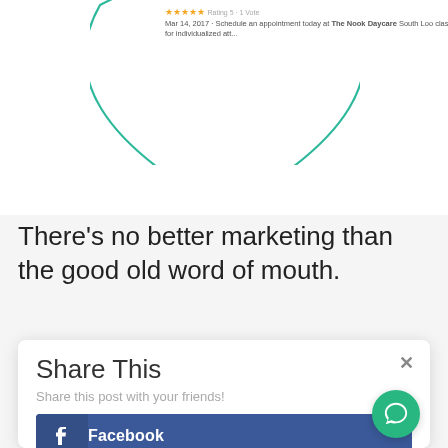[Figure (screenshot): Partial view of a browser/app screenshot showing an arc/oval outline in teal/green and a review card snippet reading: 'Rating 5 · 1 Vote. Mar 14, 2017 · Schedule an appointment today at The Nook Daycare South Loo classrooms for individualized att...']
There's no better marketing than the good old word of mouth.
[Figure (screenshot): Share This modal dialog with close (×) button. Subtitle: 'Share this post with your friends!' Three social sharing buttons: Facebook (dark blue), Twitter (light blue), LinkedIn (medium blue). A green circular chat/messenger button in bottom-right corner.]